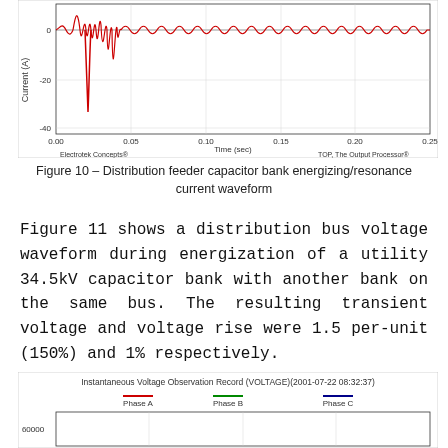[Figure (continuous-plot): Current waveform showing distribution feeder capacitor bank energizing/resonance current. X-axis: Time (sec) from 0.00 to 0.25. Y-axis: Current (A) from about -40 to near 0. Red sinusoidal waveform with large transient spike around t=0.03 going to about -30A, then settling into smaller oscillations. Branded: Electrotek Concepts® and TOP, The Output Processor®]
Figure 10 – Distribution feeder capacitor bank energizing/resonance current waveform
Figure 11 shows a distribution bus voltage waveform during energization of a utility 34.5kV capacitor bank with another bank on the same bus. The resulting transient voltage and voltage rise were 1.5 per-unit (150%) and 1% respectively.
[Figure (continuous-plot): Instantaneous Voltage Observation Record (VOLTAGE)(2001-07-22 08:32:37). Shows Phase A (red), Phase B (green), Phase C (blue) voltage waveforms. Y-axis starts at 60000. Partial view showing top of chart with legend.]